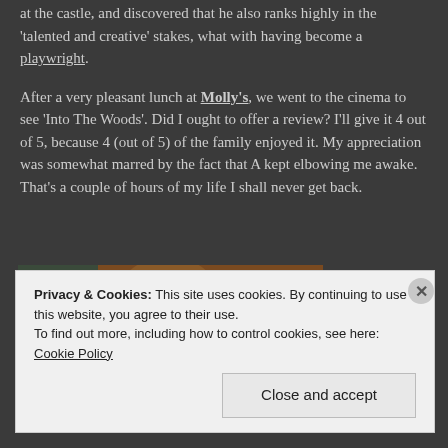at the castle, and discovered that he also ranks highly in the 'talented and creative' stakes, what with having become a playwright.
After a very pleasant lunch at Molly's, we went to the cinema to see 'Into The Woods'. Did I ought to offer a review? I'll give it 4 out of 5, because 4 (out of 5) of the family enjoyed it. My appreciation was somewhat marred by the fact that A kept elbowing me awake. That's a couple of hours of my life I shall never get back.
[Figure (photo): A child viewed from behind sitting at a piano/keyboard, with a leather chair visible on the left and wooden piano frame on the right.]
Privacy & Cookies: This site uses cookies. By continuing to use this website, you agree to their use.
To find out more, including how to control cookies, see here: Cookie Policy